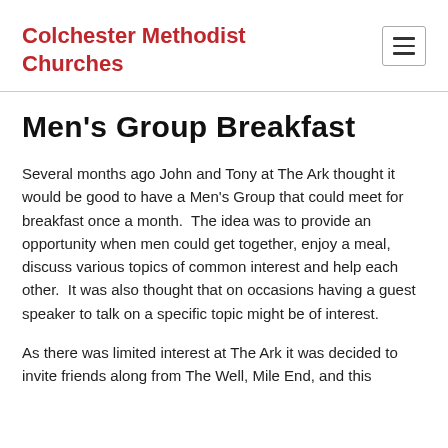Colchester Methodist Churches
Men's Group Breakfast
Several months ago John and Tony at The Ark thought it would be good to have a Men's Group that could meet for breakfast once a month.  The idea was to provide an opportunity when men could get together, enjoy a meal, discuss various topics of common interest and help each other.  It was also thought that on occasions having a guest speaker to talk on a specific topic might be of interest.
As there was limited interest at The Ark it was decided to invite friends along from The Well, Mile End, and this